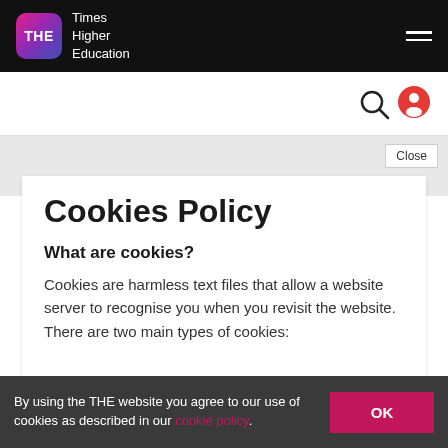[Figure (logo): Times Higher Education logo with THE icon and hamburger menu on black navbar]
[Figure (illustration): Search icon (magnifying glass) and user account icon (red circle with person silhouette) on white search bar]
Close
Cookies Policy
What are cookies?
Cookies are harmless text files that allow a website server to recognise you when you revisit the website. There are two main types of cookies:
By using the THE website you agree to our use of cookies as described in our cookie policy.